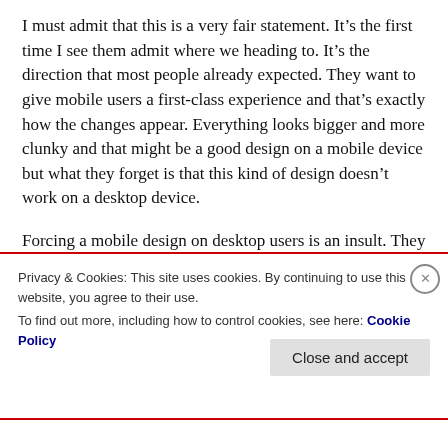I must admit that this is a very fair statement. It's the first time I see them admit where we heading to. It's the direction that most people already expected. They want to give mobile users a first-class experience and that's exactly how the changes appear. Everything looks bigger and more clunky and that might be a good design on a mobile device but what they forget is that this kind of design doesn't work on a desktop device.
Forcing a mobile design on desktop users is an insult. They do even clearly admit it when they talk about creating a first-class experience for mobile users because
Privacy & Cookies: This site uses cookies. By continuing to use this website, you agree to their use.
To find out more, including how to control cookies, see here: Cookie Policy